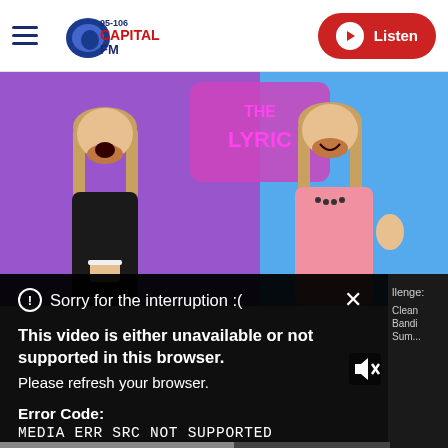95-106 Capital FM | Listen
[Figure (photo): Two men with long blonde hair smiling on a colorful purple and blue background with 'THE LYRIC' text visible. One wears a black leather jacket, the other a pink sweatshirt.]
Sorry for the interruption :(
This video is either unavailable or not supported in this browser.
Please refresh your browser.
Error Code:
MEDIA ERR SRC NOT SUPPORTED